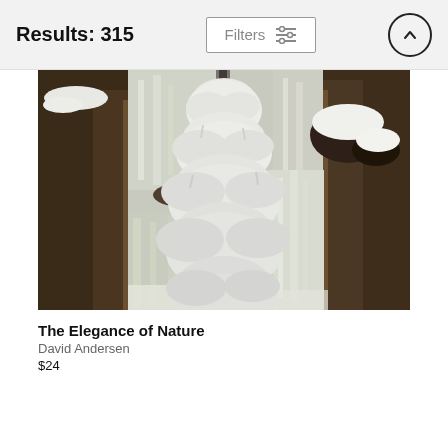Results: 315
[Figure (photo): Winter landscape photo showing a snow-covered evergreen tree in the center, flanked by waterfalls cascading over dark rocks. Heavy snow blankets the tree branches and rocks. The water appears silky from long exposure.]
The Elegance of Nature
David Andersen
$24